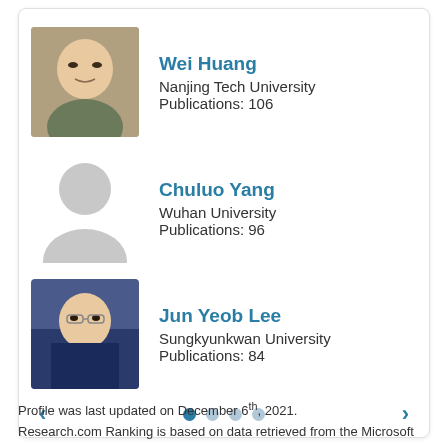[Figure (photo): Profile photo of Wei Huang, a man in dark clothing]
Wei Huang
Nanjing Tech University
Publications: 106
[Figure (illustration): Generic placeholder silhouette avatar for Chuluo Yang]
Chuluo Yang
Wuhan University
Publications: 96
[Figure (photo): Profile photo of Jun Yeob Lee, a man in suit with glasses]
Jun Yeob Lee
Sungkyunkwan University
Publications: 84
Profile was last updated on December 6th, 2021.
Research.com Ranking is based on data retrieved from the Microsoft